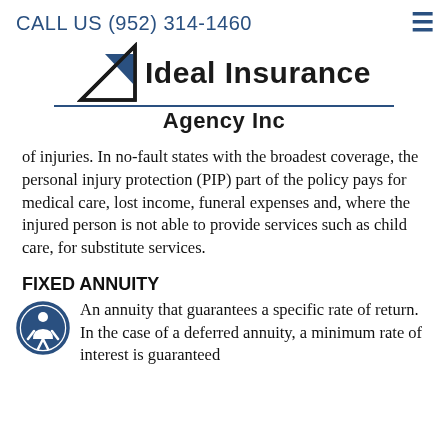CALL US (952) 314-1460
[Figure (logo): Ideal Insurance Agency Inc logo with a triangle/arrow graphic in blue and black, company name in bold, and a blue underline]
of injuries. In no-fault states with the broadest coverage, the personal injury protection (PIP) part of the policy pays for medical care, lost income, funeral expenses and, where the injured person is not able to provide services such as child care, for substitute services.
FIXED ANNUITY
An annuity that guarantees a specific rate of return. In the case of a deferred annuity, a minimum rate of interest is guaranteed...